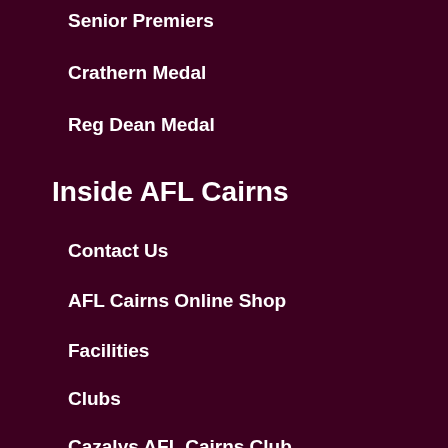Senior Premiers
Crathern Medal
Reg Dean Medal
Inside AFL Cairns
Contact Us
AFL Cairns Online Shop
Facilities
Clubs
Cazalys AFL Cairns Club
Cazalys Stadium
Accommodation
Follow Us